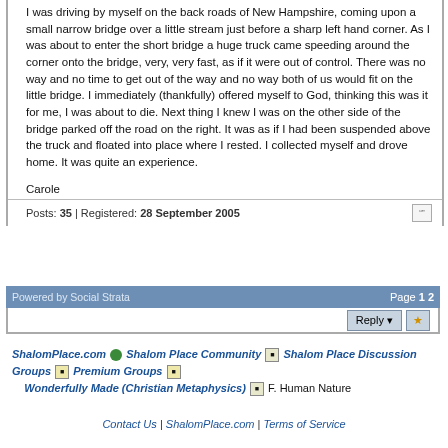I was driving by myself on the back roads of New Hampshire, coming upon a small narrow bridge over a little stream just before a sharp left hand corner. As I was about to enter the short bridge a huge truck came speeding around the corner onto the bridge, very, very fast, as if it were out of control. There was no way and no time to get out of the way and no way both of us would fit on the little bridge. I immediately (thankfully) offered myself to God, thinking this was it for me, I was about to die. Next thing I knew I was on the other side of the bridge parked off the road on the right. It was as if I had been suspended above the truck and floated into place where I rested. I collected myself and drove home. It was quite an experience.
Carole
Posts: 35 | Registered: 28 September 2005
Powered by Social Strata    Page 1 2
Reply
ShalomPlace.com > Shalom Place Community > Shalom Place Discussion Groups > Premium Groups > Wonderfully Made (Christian Metaphysics) > F. Human Nature
Contact Us | ShalomPlace.com | Terms of Service